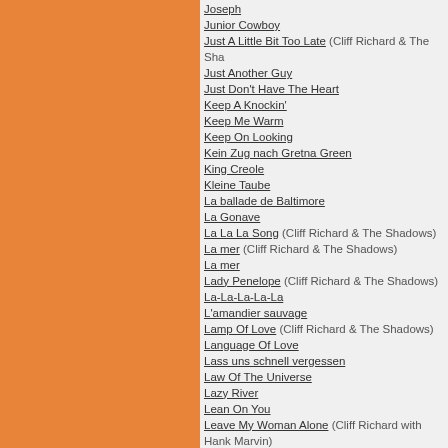[Figure (other): Orange rectangle panel on the left side of the page]
Joseph
Junior Cowboy
Just A Little Bit Too Late (Cliff Richard & The Shadows)
Just Another Guy
Just Don't Have The Heart
Keep A Knockin'
Keep Me Warm
Keep On Looking
Kein Zug nach Gretna Green
King Creole
Kleine Taube
La ballade de Baltimore
La Gonave
La La La Song (Cliff Richard & The Shadows)
La mer (Cliff Richard & The Shadows)
La mer
Lady Penelope (Cliff Richard & The Shadows)
La-La-La-La-La
L'amandier sauvage
Lamp Of Love (Cliff Richard & The Shadows)
Language Of Love
Lass uns schnell vergessen
Law Of The Universe
Lazy River
Lean On You
Leave My Woman Alone (Cliff Richard with Hank Marvin)
Left Out Again (Cliff Richard & The Shadows)
Legata Ad Un Granello Di Sabbia
Lessons In Love (Cliff Richard & The Shadows)
Let It Be Me
Let It Snow
Let Me Be The One
Let's Fall In Love
Let's Make A Memory
Let's Make A Memory (Cliff Richard & The Shadows)
Lieben kann man einmal nur